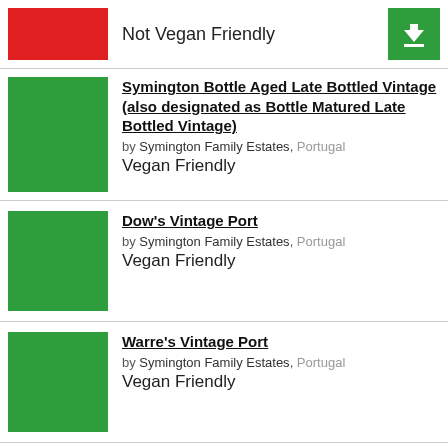Not Vegan Friendly
Symington Bottle Aged Late Bottled Vintage (also designated as Bottle Matured Late Bottled Vintage) by Symington Family Estates, Portugal — Vegan Friendly
Dow's Vintage Port by Symington Family Estates, Portugal — Vegan Friendly
Warre's Vintage Port by Symington Family Estates, Portugal — Vegan Friendly
Cockburn's Vintage Port by Symington Family Estates, Portugal — Vegan Friendly
Graham's Vintage Port by Symington Family Estates, Portugal — Vegan Friendly
Dow's Quinta do Bomfim Vintage Port by Symington Family Estates, Portugal